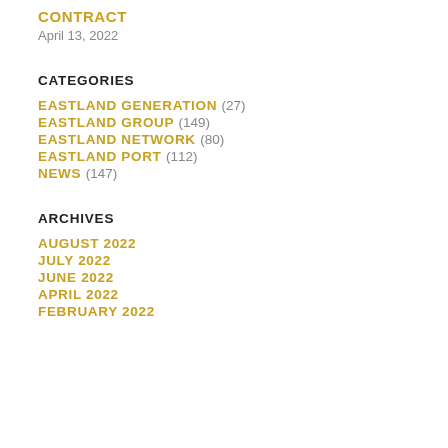CONTRACT
April 13, 2022
CATEGORIES
EASTLAND GENERATION (27)
EASTLAND GROUP (149)
EASTLAND NETWORK (80)
EASTLAND PORT (112)
NEWS (147)
ARCHIVES
AUGUST 2022
JULY 2022
JUNE 2022
APRIL 2022
FEBRUARY 2022